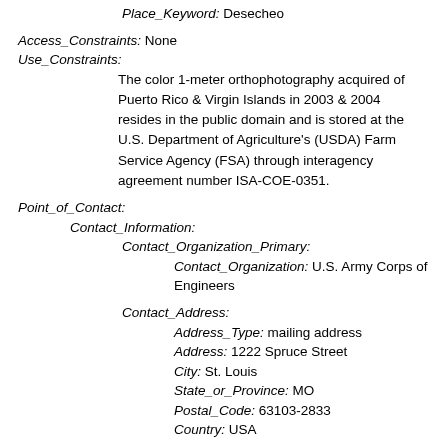Place_Keyword: Desecheo
Access_Constraints: None
Use_Constraints:
The color 1-meter orthophotography acquired of Puerto Rico & Virgin Islands in 2003 & 2004 resides in the public domain and is stored at the U.S. Department of Agriculture's (USDA) Farm Service Agency (FSA) through interagency agreement number ISA-COE-0351.
Point_of_Contact:
Contact_Information:
Contact_Organization_Primary:
Contact_Organization: U.S. Army Corps of Engineers
Contact_Address:
Address_Type: mailing address
Address: 1222 Spruce Street
City: St. Louis
State_or_Province: MO
Postal_Code: 63103-2833
Country: USA
Contact_Voice_Telephone: 314-331-8385